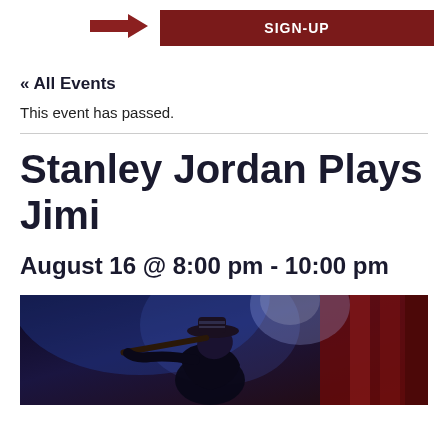[Figure (other): Dark red arrow pointing right followed by a dark red SIGN-UP button]
« All Events
This event has passed.
Stanley Jordan Plays Jimi
August 16 @ 8:00 pm - 10:00 pm
[Figure (photo): Concert photo of a guitarist performing on stage under blue and red stage lighting, wearing a decorated hat, leaning over their instrument]